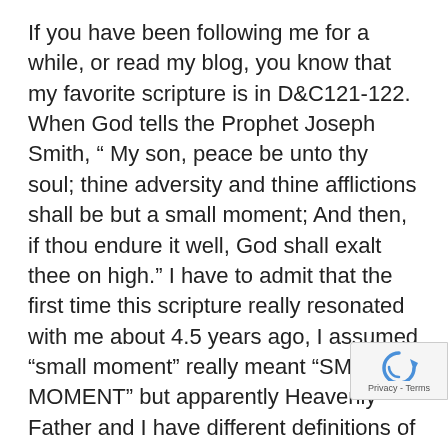If you have been following me for a while, or read my blog, you know that my favorite scripture is in D&C121-122. When God tells the Prophet Joseph Smith, “ My son, peace be unto thy soul; thine adversity and thine afflictions shall be but a small moment; And then, if thou endure it well, God shall exalt thee on high.” I have to admit that the first time this scripture really resonated with me about 4.5 years ago, I assumed “small moment” really meant “SMALL MOMENT” but apparently Heavenly Father and I have different definitions of the phrase. Here I am, years later, and this “small moment” just seems to continue. Yes, there are always hap times, but overall life is hard! I just expected “small moment” to be a whole lot…
[Figure (other): reCAPTCHA badge with circular arrow icon and Privacy - Terms text]